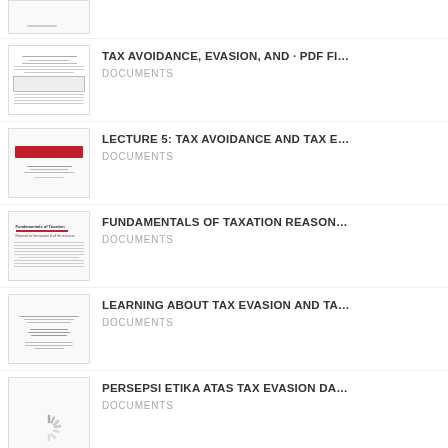[Figure (screenshot): Partial document thumbnail at top, cut off, showing bottom portion only with small text]
TAX AVOIDANCE, EVASION, AND · PDF FI...
DOCUMENTS
LECTURE 5: TAX AVOIDANCE AND TAX E...
DOCUMENTS
FUNDAMENTALS OF TAXATION REASON...
DOCUMENTS
LEARNING ABOUT TAX EVASION AND TA...
DOCUMENTS
PERSEPSI ETIKA ATAS TAX EVASION DA...
DOCUMENTS